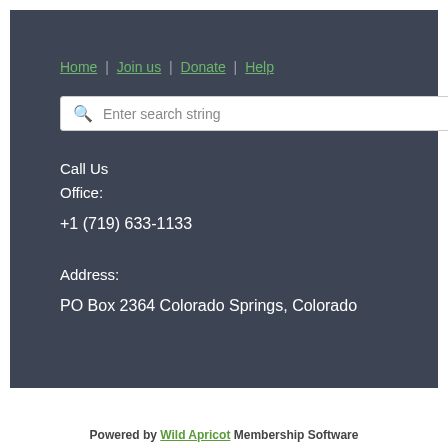Home | Join us | Donate | Help
Enter search string
Call Us
Office:

+1 (719) 633-1133

Address:

PO Box 2364 Colorado Springs, Colorado
Powered by Wild Apricot Membership Software